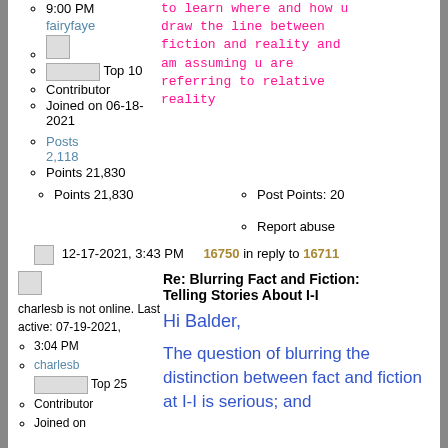9:00 PM
fairyfaye
[Figure (illustration): Small avatar image placeholder]
[Figure (illustration): Top 10 badge image]
Contributor
Joined on 06-18-2021
Posts 2,118
Points 21,830
Post Points: 20
Report abuse
to learn where and how u draw the line between fiction and reality and am assuming u are referring to relative reality
12-17-2021, 3:43 PM   16750 in reply to 16711
[Figure (illustration): Small image placeholder for post]
charlesb is not online. Last active: 07-19-2021, 3:04 PM
charlesb
[Figure (illustration): Small avatar image placeholder]
Re: Blurring Fact and Fiction: Telling Stories About I-I
Hi Balder,
Top 25
Contributor
Joined on
The question of blurring the distinction between fact and fiction at I-I is serious; and